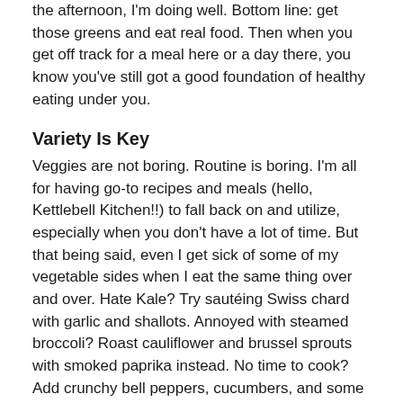the afternoon, I'm doing well. Bottom line: get those greens and eat real food. Then when you get off track for a meal here or a day there, you know you've still got a good foundation of healthy eating under you.
Variety Is Key
Veggies are not boring. Routine is boring. I'm all for having go-to recipes and meals (hello, Kettlebell Kitchen!!) to fall back on and utilize, especially when you don't have a lot of time. But that being said, even I get sick of some of my vegetable sides when I eat the same thing over and over. Hate Kale? Try sautéing Swiss chard with garlic and shallots. Annoyed with steamed broccoli? Roast cauliflower and brussel sprouts with smoked paprika instead. No time to cook? Add crunchy bell peppers, cucumbers, and some hearts of palm to mixed greens as an easy side salad. Making a big pot of soup or chili for the week? Throw some spinach in there... you'll barely even notice it.
Now fasting is something I want to cover as a tool that...